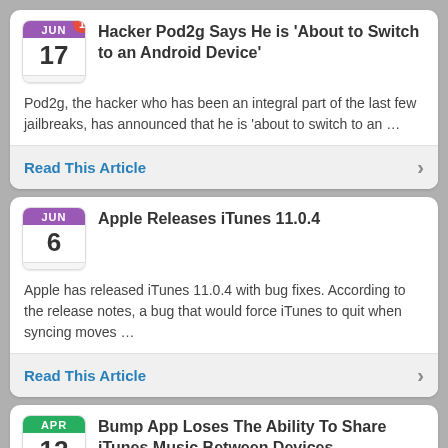Hacker Pod2g Says He is 'About to Switch to an Android Device'
Pod2g, the hacker who has been an integral part of the last few jailbreaks, has announced that he is 'about to switch to an …
Read This Article
Apple Releases iTunes 11.0.4
Apple has released iTunes 11.0.4 with bug fixes. According to the release notes, a bug that would force iTunes to quit when syncing moves …
Read This Article
Bump App Loses The Ability To Share iTunes Music Between Devices